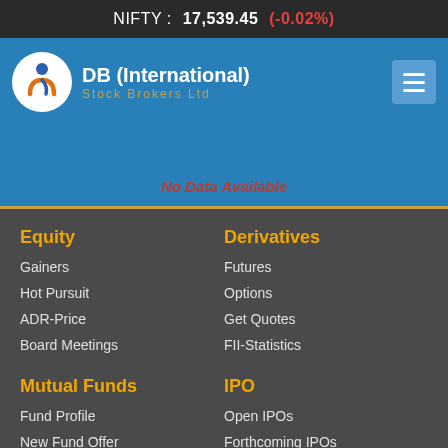NIFTY : 17,539.45 (-0.02%)
[Figure (logo): DB (International) Stock Brokers Ltd logo with circular emblem]
No Data Available
Equity
Gainers
Hot Pursuit
ADR-Price
Board Meetings
Derivatives
Futures
Options
Get Quotes
FII-Statistics
Mutual Funds
Fund Profile
New Fund Offer
MF News
Dividend Details
IPO
Open IPOs
Forthcoming IPOs
Closed IPOs
New Issues Monitor